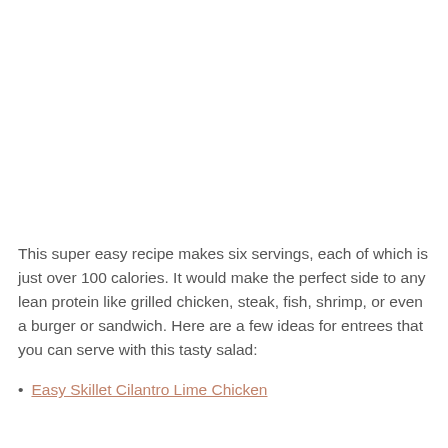This super easy recipe makes six servings, each of which is just over 100 calories. It would make the perfect side to any lean protein like grilled chicken, steak, fish, shrimp, or even a burger or sandwich. Here are a few ideas for entrees that you can serve with this tasty salad:
Easy Skillet Cilantro Lime Chicken